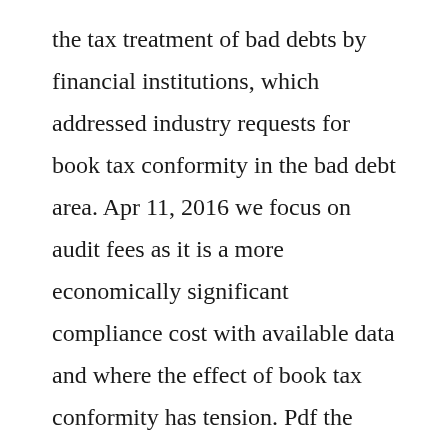the tax treatment of bad debts by financial institutions, which addressed industry requests for book tax conformity in the bad debt area. Apr 11, 2016 we focus on audit fees as it is a more economically significant compliance cost with available data and where the effect of book tax conformity has tension. Pdf the effect of booktax conformity and tax accounting. In addition to using different standards for financial income also known as book income versus taxable income, the entities and individuals interested in financial accounting and taxable income are different